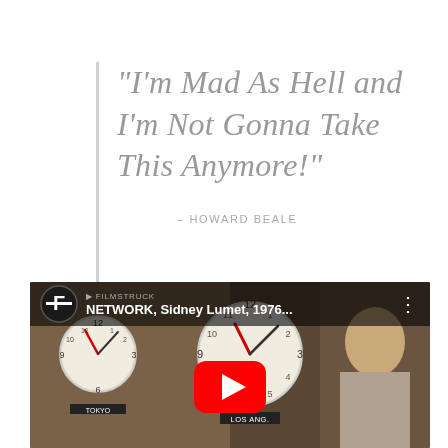“I’m Mad As Hell and I’m Not Gonna Take This Anymore!”
– HOWARD BEALE
[Figure (screenshot): YouTube video thumbnail showing a scene from the film NETWORK (Sidney Lumet, 1976). A man is shown angry with clocks in the background. A red YouTube play button is centered on the image. The video is from FilmStruck channel.]